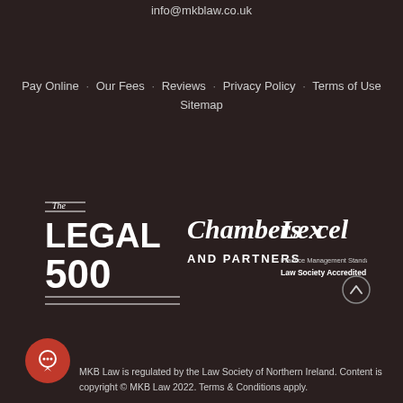info@mkblaw.co.uk
Pay Online · Our Fees · Reviews · Privacy Policy · Terms of Use · Sitemap
[Figure (logo): Three logos side by side on dark background: The Legal 500, Chambers and Partners, Lexcel Practice Management Standard Law Society Accredited]
MKB Law is regulated by the Law Society of Northern Ireland. Content is copyright © MKB Law 2022. Terms & Conditions apply.